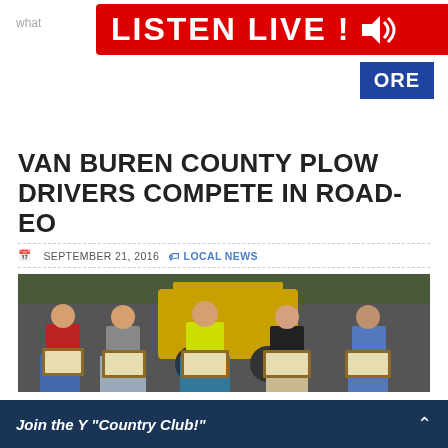[Figure (screenshot): LISTEN LIVE! banner in red with speaker icon, and blue MORE button on white background]
VAN BUREN COUNTY PLOW DRIVERS COMPETE IN ROAD-EO
SEPTEMBER 21, 2016   LOCAL NEWS
[Figure (photo): Five people standing in front of a large yellow construction vehicle, each holding a certificate/plaque. From left: man in red shirt, person in grey shirt, man in yellow safety vest, woman in black top, man in blue shirt.]
Join the Y "Country Club!"